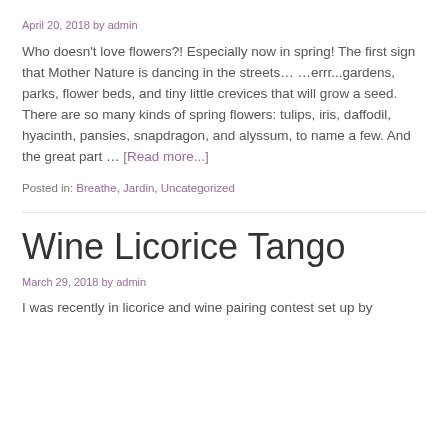April 20, 2018 by admin
Who doesn't love flowers?! Especially now in spring! The first sign that Mother Nature is dancing in the streets… …errr...gardens, parks, flower beds, and tiny little crevices that will grow a seed. There are so many kinds of spring flowers: tulips, iris, daffodil, hyacinth, pansies, snapdragon, and alyssum, to name a few. And the great part … [Read more...]
Posted in: Breathe, Jardin, Uncategorized
Wine Licorice Tango
March 29, 2018 by admin
I was recently in licorice and wine pairing contest set up by